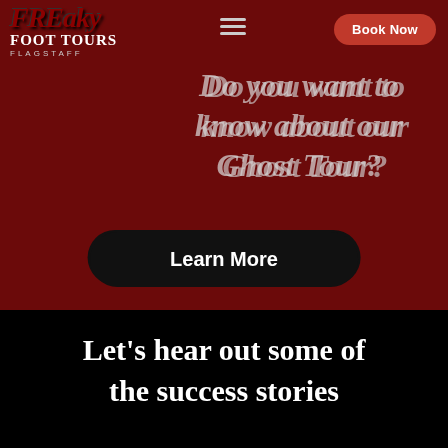[Figure (screenshot): Freaky Foot Tours Flagstaff website screenshot showing logo in top left, hamburger menu icon, red Book Now button, overlay text asking about Ghost Tour, a Learn More button, and a black section below with promotional text.]
Do you want to know about our Ghost Tour?
Learn More
Let's hear out some of the success stories